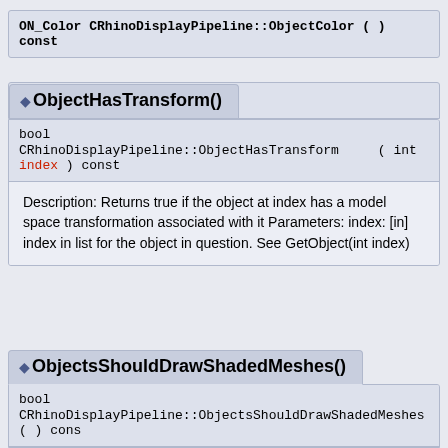ON_Color CRhinoDisplayPipeline::ObjectColor ( ) const
ObjectHasTransform()
bool
CRhinoDisplayPipeline::ObjectHasTransform ( int index ) const
Description: Returns true if the object at index has a model space transformation associated with it Parameters: index: [in] index in list for the object in question. See GetObject(int index)
ObjectsShouldDrawShadedMeshes()
bool
CRhinoDisplayPipeline::ObjectsShouldDrawShadedMeshes ( ) cons